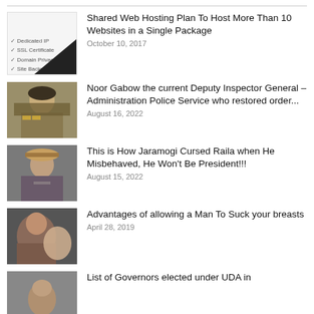[Figure (illustration): Thumbnail image showing a web hosting advertisement with a checklist including Dedicated IP, SSL Certificate, Domain Privacy, Site Backup Pro, with a dark triangular shape at bottom right]
Shared Web Hosting Plan To Host More Than 10 Websites in a Single Package
October 10, 2017
[Figure (photo): Photo of a military officer in uniform with medals]
Noor Gabow the current Deputy Inspector General – Administration Police Service who restored order...
August 16, 2022
[Figure (photo): Photo of an elderly man in a hat gesturing]
This is How Jaramogi Cursed Raila when He Misbehaved, He Won't Be President!!!
August 15, 2022
[Figure (photo): Close-up photo of a person]
Advantages of allowing a Man To Suck your breasts
April 28, 2019
[Figure (photo): Partial photo of a person's face, cropped at bottom]
List of Governors elected under UDA in